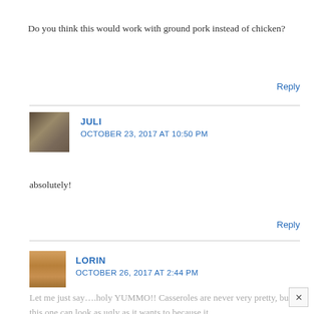Do you think this would work with ground pork instead of chicken?
Reply
JULI
OCTOBER 23, 2017 AT 10:50 PM
absolutely!
Reply
LORIN
OCTOBER 26, 2017 AT 2:44 PM
Let me just say….holy YUMMO!! Casseroles are never very pretty, but this one can look as ugly as it wants to because it